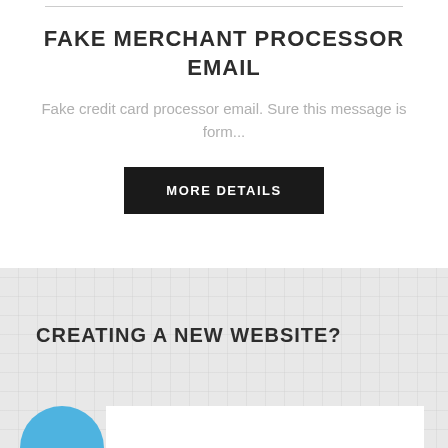FAKE MERCHANT PROCESSOR EMAIL
Fake credit card processor email. Sure this message is form...
MORE DETAILS
CREATING A NEW WEBSITE?
[Figure (illustration): Partial blue circle and white card visible at bottom of page]